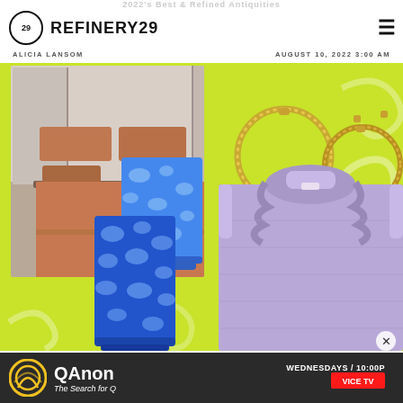REFINERY29
ALICIA LANSOM
AUGUST 10, 2022 3:00 AM
[Figure (photo): Collage image on lime green background featuring: a bedroom with brown/tan sheets and pillows, gold hoop earrings, blue patterned glass tumblers, and a lavender fuzzy ruffle-neck sweater vest]
[Figure (advertisement): QAnon: The Search for Q - WEDNESDAYS / 10:00P on VICE TV advertisement banner]